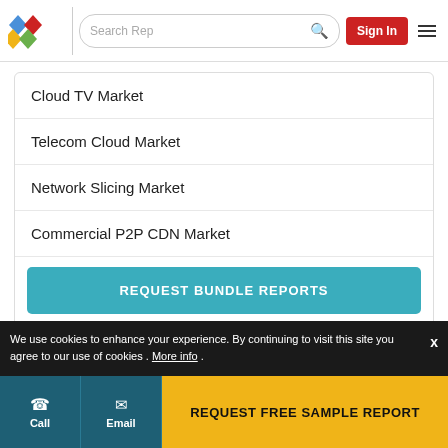Search Rep | Sign In
Cloud TV Market
Telecom Cloud Market
Network Slicing Market
Commercial P2P CDN Market
REQUEST BUNDLE REPORTS
We use cookies to enhance your experience. By continuing to visit this site you agree to our use of cookies . More info .
Call | Email | REQUEST FREE SAMPLE REPORT